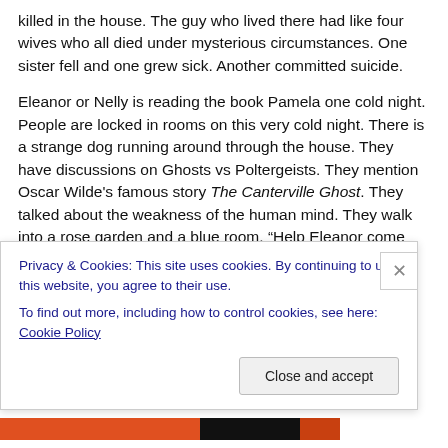killed in the house. The guy who lived there had like four wives who all died under mysterious circumstances. One sister fell and one grew sick. Another committed suicide.
Eleanor or Nelly is reading the book Pamela one cold night. People are locked in rooms on this very cold night. There is a strange dog running around through the house. They have discussions on Ghosts vs Poltergeists. They mention Oscar Wilde's famous story The Canterville Ghost. They talked about the weakness of the human mind. They walk into a rose garden and a blue room. “Help Eleanor come home” is written in red on the wall. Is it
Privacy & Cookies: This site uses cookies. By continuing to use this website, you agree to their use.
To find out more, including how to control cookies, see here: Cookie Policy
Close and accept